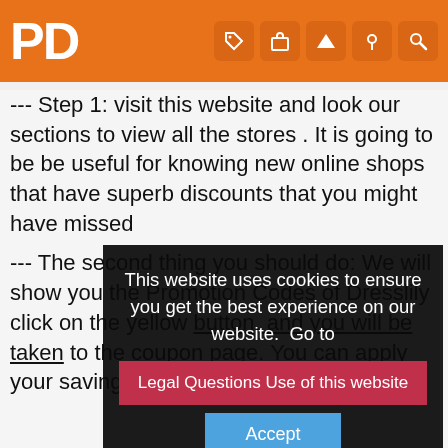PD
--- Step 1: visit this website and look our sections to view all the stores . It is going to be be useful for knowing new online shops that have superb discounts that you might have missed
--- The second thing you should do: We will show you the Promotion Codes of Dresslily click on the yellow ... will be taken ... you can apply your savin...
[Figure (screenshot): Cookie consent overlay dialog with dark background. Text: 'This website uses cookies to ensure you get the best experience on our website. Go to'. Two buttons: 'Legal Questions Use of this website' (red) and 'Accept' (blue).]
- The third thing you should do: After taking the products that you are looking for, simply put the promotional code at the bag prepared at your shopping cart where you can see "Promotion Code" written and enjoy the bargain.